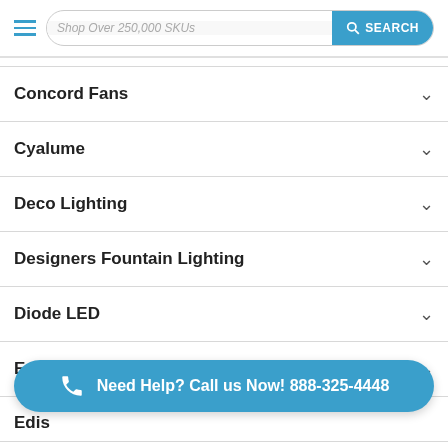Shop Over 250,000 SKUs  SEARCH
Concord Fans
Cyalume
Deco Lighting
Designers Fountain Lighting
Diode LED
Eaton
Edis...
EiKO
Need Help? Call us Now! 888-325-4448